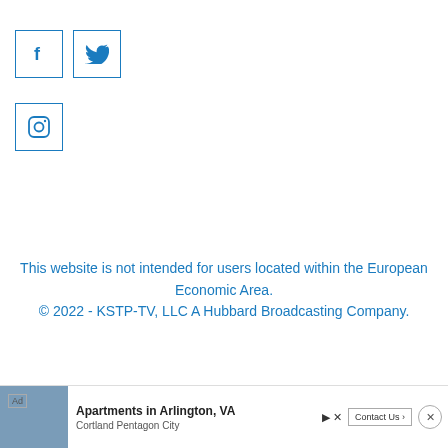[Figure (illustration): Facebook social media icon box with 'f' letter in blue]
[Figure (illustration): Twitter social media icon box with bird icon in blue]
[Figure (illustration): Instagram social media icon box with camera icon in blue]
This website is not intended for users located within the European Economic Area.
© 2022 - KSTP-TV, LLC A Hubbard Broadcasting Company.
AN ELITE CAFEMEDIA PUBLISHER
[Figure (screenshot): Advertisement banner: Apartments in Arlington, VA - Cortland Pentagon City with Contact Us button]